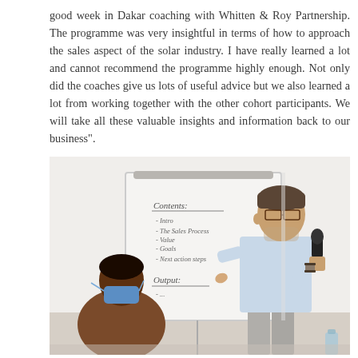good week in Dakar coaching with Whitten & Roy Partnership. The programme was very insightful in terms of how to approach the sales aspect of the solar industry. I have really learned a lot and cannot recommend the programme highly enough. Not only did the coaches give us lots of useful advice but we also learned a lot from working together with the other cohort participants. We will take all these valuable insights and information back to our business".
[Figure (photo): A man in a light blue shirt holding a microphone stands next to a flip chart/whiteboard with handwritten notes, presenting to a group. A participant wearing a blue face mask is visible seated in the foreground. The setting appears to be a workshop or coaching session.]